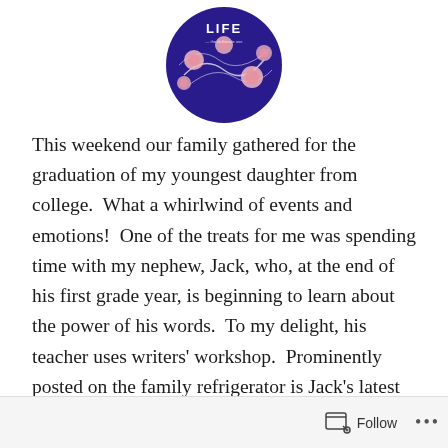[Figure (logo): Circular logo with dark blue/purple background featuring floral/botanical design with the word 'LIFE' visible at the top]
This weekend our family gathered for the graduation of my youngest daughter from college.  What a whirlwind of events and emotions!  One of the treats for me was spending time with my nephew, Jack, who, at the end of his first grade year, is beginning to learn about the power of his words.  To my delight, his teacher uses writers' workshop.  Prominently posted on the family refrigerator is Jack's latest composition, a three-paged story about his two dogs.  He used words like “mischievous” and distinguished the two dogs as one is a “licker” and the other a “sniffer.”
Follow •••